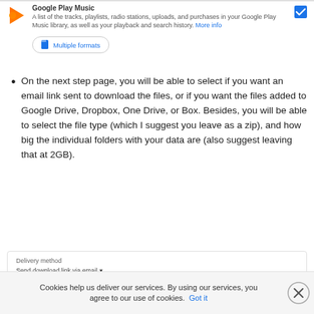[Figure (screenshot): Google Play Music section with icon, title, description text, blue checkbox, and Multiple formats button]
On the next step page, you will be able to select if you want an email link sent to download the files, or if you want the files added to Google Drive, Dropbox, One Drive, or Box. Besides, you will be able to select the file type (which I suggest you leave as a zip), and how big the individual folders with your data are (also suggest leaving that at 2GB).
[Figure (screenshot): Delivery method section showing 'Send download link via email' dropdown]
Cookies help us deliver our services. By using our services, you agree to our use of cookies. Got it